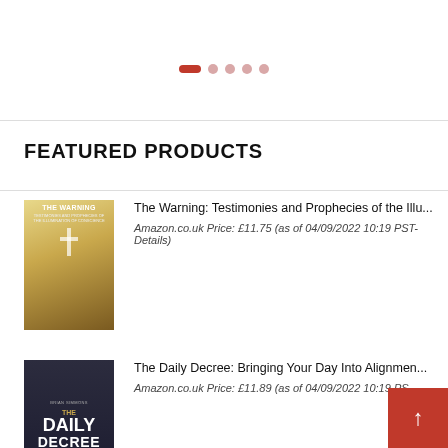[Figure (other): Carousel navigation dots: one active red pill dot followed by four smaller faded red circular dots]
FEATURED PRODUCTS
[Figure (photo): Book cover of 'The Warning: Testimonies and Prophecies of the Illumination of Conscience' — yellowish-gold landscape with a cross]
The Warning: Testimonies and Prophecies of the Illu…
Amazon.co.uk Price: £11.75 (as of 04/09/2022 10:19 PST- Details)
[Figure (photo): Book cover of 'The Daily Decree: Bringing Your Day Into Alignment' — dark navy background with large 'DAILY DECREE' title in white]
The Daily Decree: Bringing Your Day Into Alignmen…
Amazon.co.uk Price: £11.89 (as of 04/09/2022 10:19 PS…)